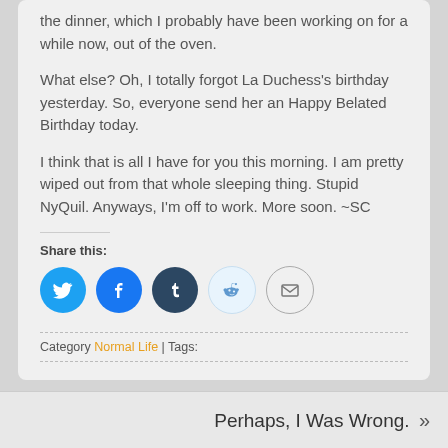the dinner, which I probably have been working on for a while now, out of the oven.
What else? Oh, I totally forgot La Duchess's birthday yesterday. So, everyone send her an Happy Belated Birthday today.
I think that is all I have for you this morning. I am pretty wiped out from that whole sleeping thing. Stupid NyQuil. Anyways, I'm off to work. More soon. ~SC
Share this:
[Figure (infographic): Social sharing icons: Twitter, Facebook, Tumblr, Reddit, Email]
Category Normal Life | Tags:
Perhaps, I Was Wrong. »